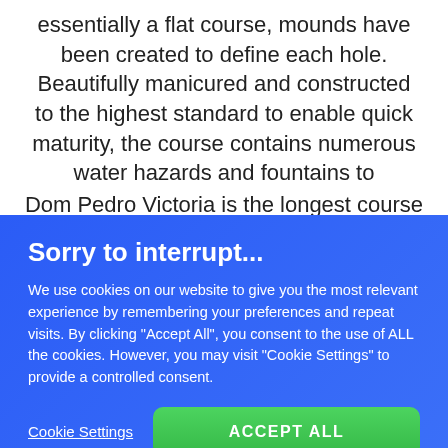essentially a flat course, mounds have been created to define each hole. Beautifully manicured and constructed to the highest standard to enable quick maturity, the course contains numerous water hazards and fountains to enhance the natural beauty.
Dom Pedro Victoria is the longest course in
Sorry to interrupt...
We use cookies on our website to give you the most relevant experience by remembering your preferences and repeat visits. By clicking "Accept All", you consent to the use of ALL the cookies. However, you may visit "Cookie Settings" to provide a controlled consent.
Cookie Settings
ACCEPT ALL